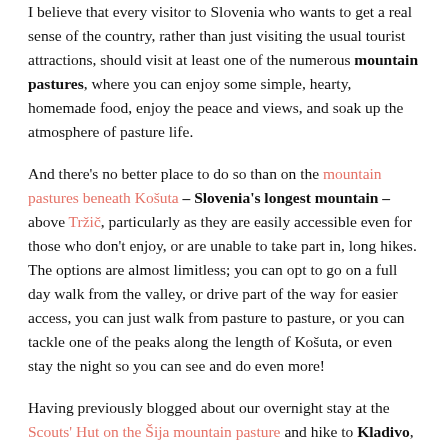I believe that every visitor to Slovenia who wants to get a real sense of the country, rather than just visiting the usual tourist attractions, should visit at least one of the numerous mountain pastures, where you can enjoy some simple, hearty, homemade food, enjoy the peace and views, and soak up the atmosphere of pasture life.
And there's no better place to do so than on the mountain pastures beneath Košuta – Slovenia's longest mountain – above Tržič, particularly as they are easily accessible even for those who don't enjoy, or are unable to take part in, long hikes. The options are almost limitless; you can opt to go on a full day walk from the valley, or drive part of the way for easier access, you can just walk from pasture to pasture, or you can tackle one of the peaks along the length of Košuta, or even stay the night so you can see and do even more!
Having previously blogged about our overnight stay at the Scouts' Hut on the Šija mountain pasture and hike to Kladivo, this time we picked up the walk where we left off – at the Pungrat mountain pasture – from where we walked to the Dolga njiva alpine dairy farm